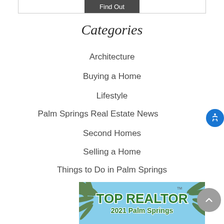Find Out
Categories
Architecture
Buying a Home
Lifestyle
Palm Springs Real Estate News
Second Homes
Selling a Home
Things to Do in Palm Springs
[Figure (illustration): Advertisement banner: TOP REALTOR 2021 Palm Springs, with palm tree imagery and blue sky background]